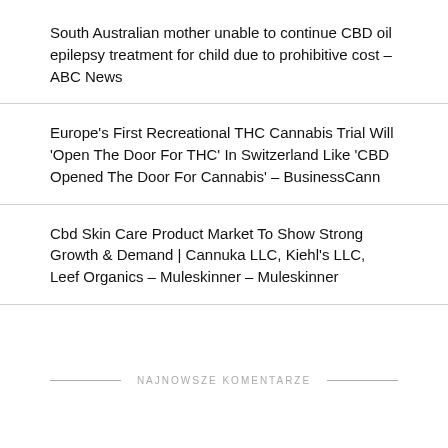South Australian mother unable to continue CBD oil epilepsy treatment for child due to prohibitive cost – ABC News
Europe's First Recreational THC Cannabis Trial Will 'Open The Door For THC' In Switzerland Like 'CBD Opened The Door For Cannabis' – BusinessCann
Cbd Skin Care Product Market To Show Strong Growth & Demand | Cannuka LLC, Kiehl's LLC, Leef Organics – Muleskinner – Muleskinner
NAJNOWSZE KOMENTARZE